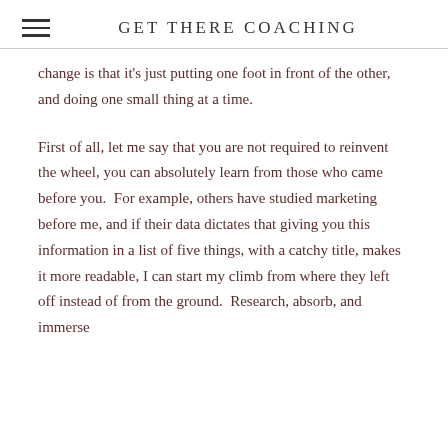GET THERE COACHING
change is that it's just putting one foot in front of the other, and doing one small thing at a time.
First of all, let me say that you are not required to reinvent the wheel, you can absolutely learn from those who came before you.  For example, others have studied marketing before me, and if their data dictates that giving you this information in a list of five things, with a catchy title, makes it more readable, I can start my climb from where they left off instead of from the ground.  Research, absorb, and immerse